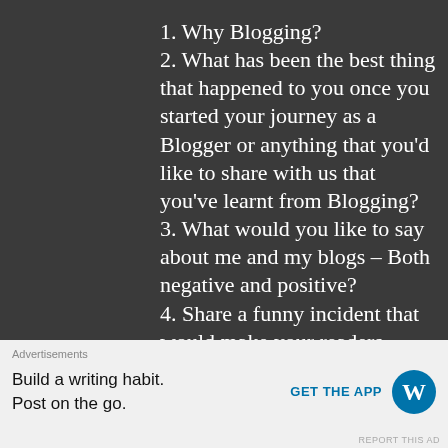1. Why Blogging?
2. What has been the best thing that happened to you once you started your journey as a Blogger or anything that you'd like to share with us that you've learnt from Blogging?
3. What would you like to say about me and my blogs – Both negative and positive?
4. Share a funny incident that would make your readers laugh.😊
5. Any advise you would like to
Advertisements
Build a writing habit.
Post on the go.
GET THE APP